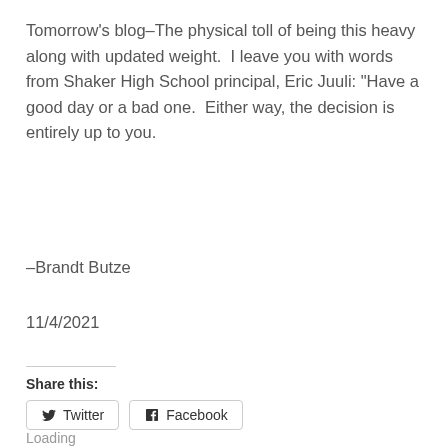Tomorrow's blog–The physical toll of being this heavy along with updated weight.  I leave you with words from Shaker High School principal, Eric Juuli: “Have a good day or a bad one.  Either way, the decision is entirely up to you.
–Brandt Butze
11/4/2021
Share this:
Loading...